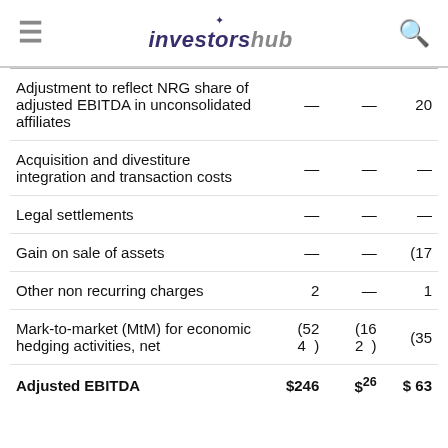investorshub
|  | Col1 | Col2 | Col3 |
| --- | --- | --- | --- |
| Adjustment to reflect NRG share of adjusted EBITDA in unconsolidated affiliates | — | — | 20 |
| Acquisition and divestiture integration and transaction costs | — | — | — |
| Legal settlements | — | — | — |
| Gain on sale of assets | — | — | (17 |
| Other non recurring charges | 2 | — | 1 |
| Mark-to-market (MtM) for economic hedging activities, net | (524) | (162) | (35 |
| Adjusted EBITDA | $246 | $26 ... | $ 63... |